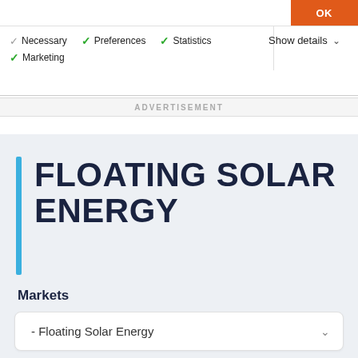[Figure (screenshot): Cookie consent bar with OK button, checkboxes for Necessary, Preferences, Statistics, Marketing, and Show details dropdown]
ADVERTISEMENT
FLOATING SOLAR ENERGY
Markets
- Floating Solar Energy